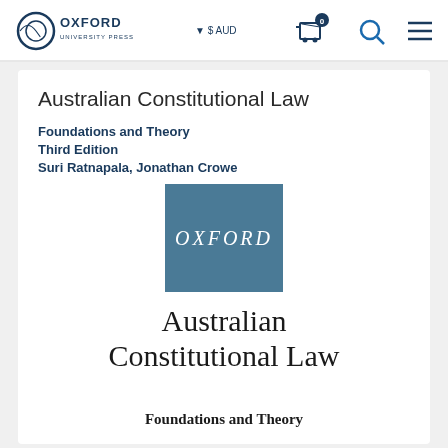[Figure (screenshot): Oxford University Press navigation bar with logo, AUD currency selector, cart icon with 0 badge, search icon, and hamburger menu]
Australian Constitutional Law
Foundations and Theory
Third Edition
Suri Ratnapala, Jonathan Crowe
[Figure (logo): Oxford University Press book cover thumbnail — steel blue square with 'OXFORD' in white italic serif text]
Australian Constitutional Law
Foundations and Theory